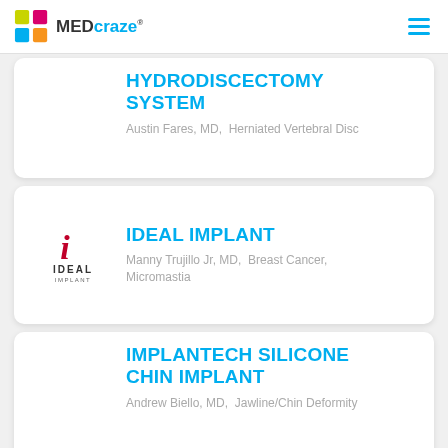MEDcraze
HYDRODISCECTOMY SYSTEM
Austin Fares, MD,  Herniated Vertebral Disc
[Figure (logo): IDEAL IMPLANT logo with stylized red italic i and IDEAL IMPLANT text]
IDEAL IMPLANT
Manny Trujillo Jr, MD,  Breast Cancer, Micromastia
IMPLANTECH SILICONE CHIN IMPLANT
Andrew Biello, MD,  Jawline/Chin Deformity